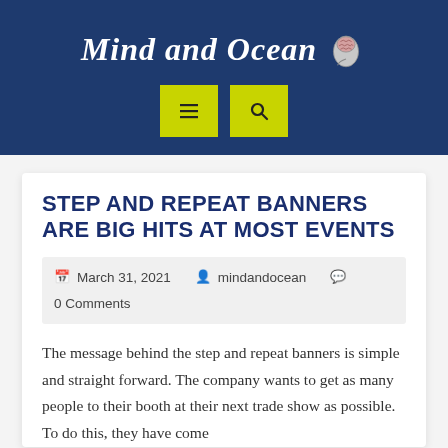Mind and Ocean
STEP AND REPEAT BANNERS ARE BIG HITS AT MOST EVENTS
March 31, 2021   mindandocean   0 Comments
The message behind the step and repeat banners is simple and straight forward. The company wants to get as many people to their booth at their next trade show as possible. To do this, they have come